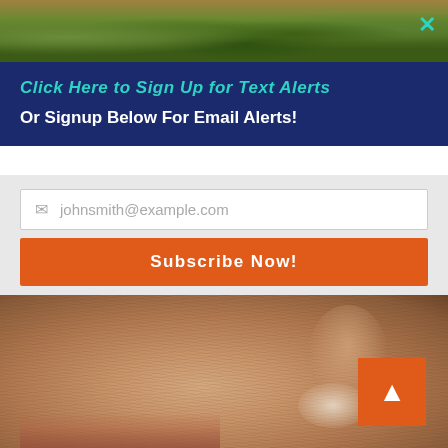[Figure (photo): Close-up photo of green vegetables/produce (top background image)]
Click Here to Sign Up for Text Alerts
Or Signup Below For Email Alerts!
[Figure (screenshot): Email signup form with placeholder text 'johnsmith@example.com' and orange 'Subscribe Now!' button]
[Figure (photo): Close-up photo of aged human face skin showing wrinkles and texture near nose and lip area]